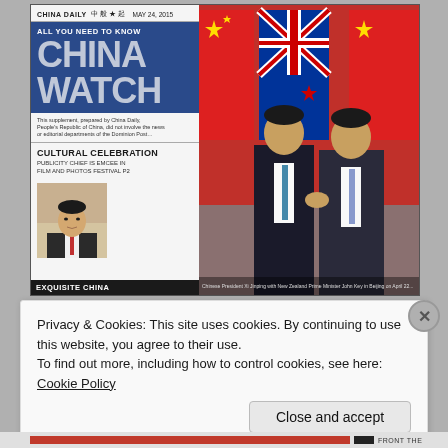[Figure (photo): Scanned newspaper front page: China Daily supplement 'China Watch' dated May 24, 2015. Left column has dark blue title block with 'ALL YOU NEED TO KNOW / CHINA WATCH' in large white/grey letters. Below is a disclaimer text, then 'CULTURAL CELEBRATION / PUBLICITY CHIEF IS EMCEE IN FILM AND PHOTOS FESTIVAL P2' with a small portrait photo of a man. Bottom strip reads 'EXQUISITE CHINA'. Right side is a large photo of two men (Chinese and New Zealand leaders) shaking hands in front of Chinese and New Zealand flags.]
Privacy & Cookies: This site uses cookies. By continuing to use this website, you agree to their use.
To find out more, including how to control cookies, see here: Cookie Policy
Close and accept